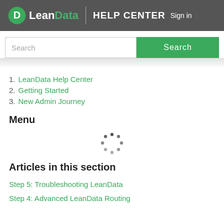LeanData HELP CENTER Sign in
[Figure (screenshot): Search bar with text input field and green Search button]
1. LeanData Help Center
2. Getting Started
3. New Admin Journey
Menu
[Figure (other): Loading spinner dots animation]
Articles in this section
Step 5: Troubleshooting LeanData
Step 4: Advanced LeanData Routing